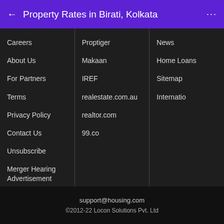← Property Rates in Birati, Kolkata ···
Careers
About Us
For Partners
Terms
Privacy Policy
Contact Us
Unsubscribe
Merger Hearing Advertisement
Proptiger
Makaan
IREF
realestate.com.au
realtor.com
99.co
News
Home Loans
Sitemap
Internatio
support@housing.com
©2012-22 Locon Solutions Pvt. Ltd